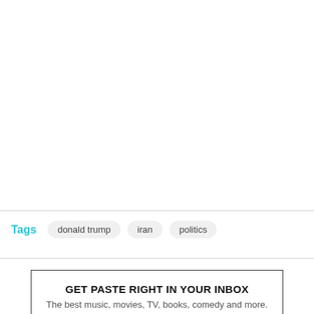Tags
donald trump
iran
politics
GET PASTE RIGHT IN YOUR INBOX
The best music, movies, TV, books, comedy and more.